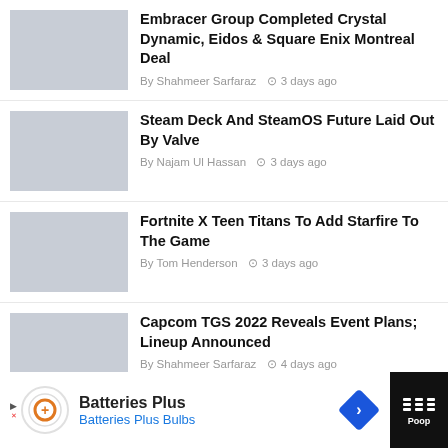Embracer Group Completed Crystal Dynamic, Eidos & Square Enix Montreal Deal — By Shahmeer Sarfaraz • 3 days ago
Steam Deck And SteamOS Future Laid Out By Valve — By Najam Ul Hassan • 3 days ago
Fortnite X Teen Titans To Add Starfire To The Game — By Tom Henderson • 3 days ago
Capcom TGS 2022 Reveals Event Plans; Lineup Announced — By Shahmeer Sarfaraz • 4 days ago
Guides
[Figure (infographic): Bottom banner advertisement for Batteries Plus / Batteries Plus Bulbs with navigation arrow icon]